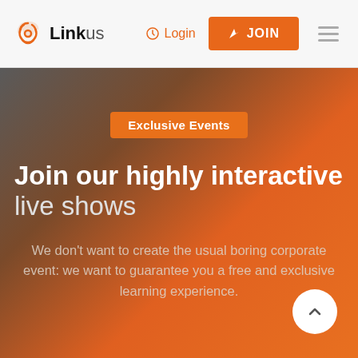Linkus | Login | JOIN
Exclusive Events
Join our highly interactive live shows
We don't want to create the usual boring corporate event: we want to guarantee you a free and exclusive learning experience.